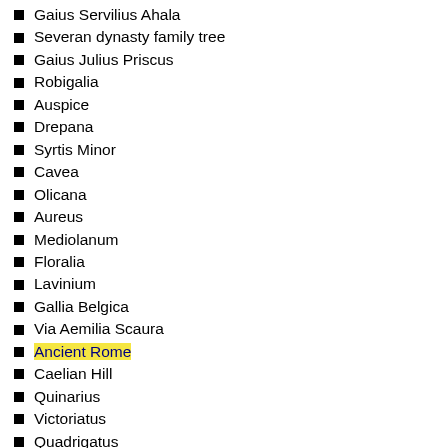Gaius Servilius Ahala
Severan dynasty family tree
Gaius Julius Priscus
Robigalia
Auspice
Drepana
Syrtis Minor
Cavea
Olicana
Aureus
Mediolanum
Floralia
Lavinium
Gallia Belgica
Via Aemilia Scaura
Ancient Rome
Caelian Hill
Quinarius
Victoriatus
Quadrigatus
Semis
Nobiles